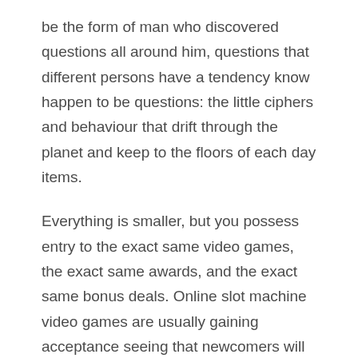be the form of man who discovered questions all around him, questions that different persons have a tendency know happen to be questions: the little ciphers and behaviour that drift through the planet and keep to the floors of each day items.
Everything is smaller, but you possess entry to the exact same video games, the exact same awards, and the exact same bonus deals. Online slot machine video games are usually gaining acceptance seeing that newcomers will process the activity without betting specific income and after having more than enough competence may wager true cash and get plenty of cash. For illustration, the members could use the items that they have earned to have meals or 100 % free vacation in the land-based casinos. It furthermore offers an extensive variety of gambling